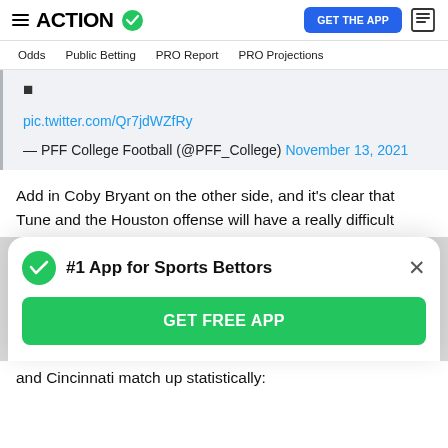ACTION — GET THE APP
Odds | Public Betting | PRO Report | PRO Projections
■
pic.twitter.com/Qr7jdWZfRy
— PFF College Football (@PFF_College) November 13, 2021
Add in Coby Bryant on the other side, and it's clear that Tune and the Houston offense will have a really difficult
[Figure (screenshot): #1 App for Sports Bettors popup with GET FREE APP button]
and Cincinnati match up statistically: